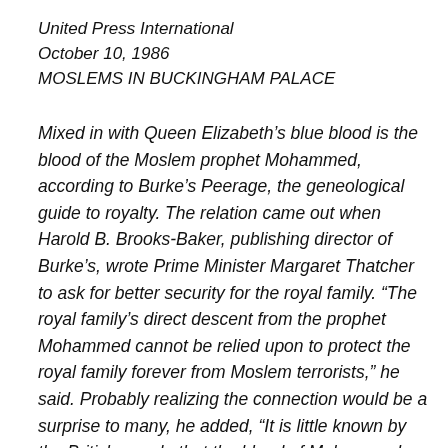United Press International
October 10, 1986
MOSLEMS IN BUCKINGHAM PALACE
Mixed in with Queen Elizabeth’s blue blood is the blood of the Moslem prophet Mohammed, according to Burke’s Peerage, the geneological guide to royalty. The relation came out when Harold B. Brooks-Baker, publishing director of Burke’s, wrote Prime Minister Margaret Thatcher to ask for better security for the royal family. “The royal family’s direct descent from the prophet Mohammed cannot be relied upon to protect the royal family forever from Moslem terrorists,” he said. Probably realizing the connection would be a surprise to many, he added, “It is little known by the British people that the blood of Mohammed flows in the veins of the queen. However, all Moslem religious leaders are proud of this fact.”